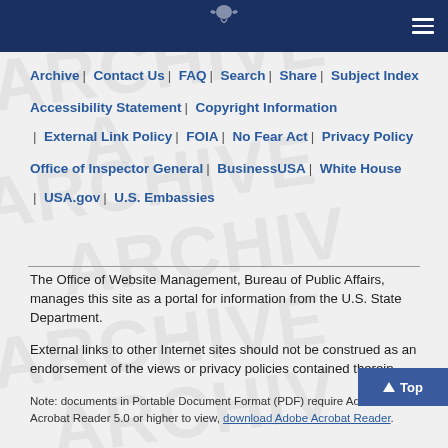Navigation header bar with hamburger menu
Archive | Contact Us | FAQ | Search | Share | Subject Index | Accessibility Statement | Copyright Information | External Link Policy | FOIA | No Fear Act | Privacy Policy | Office of Inspector General | BusinessUSA | White House | USA.gov | U.S. Embassies
The Office of Website Management, Bureau of Public Affairs, manages this site as a portal for information from the U.S. State Department.
External links to other Internet sites should not be construed as an endorsement of the views or privacy policies contained therein.
Note: documents in Portable Document Format (PDF) require Adobe Acrobat Reader 5.0 or higher to view, download Adobe Acrobat Reader.